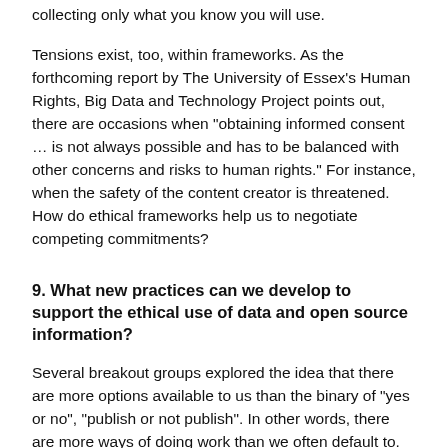collecting only what you know you will use.
Tensions exist, too, within frameworks. As the forthcoming report by The University of Essex’s Human Rights, Big Data and Technology Project points out, there are occasions when “obtaining informed consent … is not always possible and has to be balanced with other concerns and risks to human rights.” For instance, when the safety of the content creator is threatened. How do ethical frameworks help us to negotiate competing commitments?
9. What new practices can we develop to support the ethical use of data and open source information?
Several breakout groups explored the idea that there are more options available to us than the binary of “yes or no”, “publish or not publish”. In other words, there are more ways of doing work than we often default to.